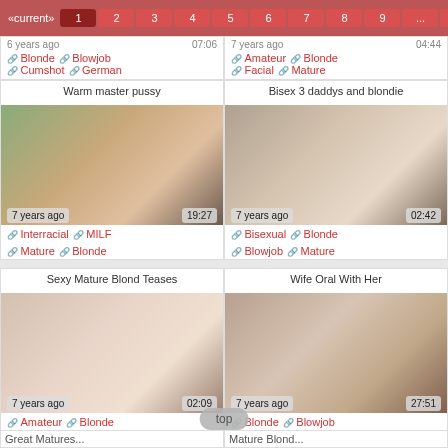Pagination: current 1, pages 2 3 4 5 6 7 8 9 ... 42 »
6 years ago  07:06 | 7 years ago  04:44
🔗 Blonde  🔗 Blowjob | 🔗 Amateur  🔗 Blonde
🔗 Cumshot  🔗 German | 🔗 Facial  🔗 Mature
Warm master pussy
[Figure (photo): Thumbnail of adult video: woman on couch. 7 years ago, 19:27]
🔗 Interracial  🔗 MILF  🔗 Mature  🔗 Blonde
Bisex 3 daddys and blondie
[Figure (photo): Thumbnail of adult video: group scene. 7 years ago, 02:42]
🔗 Bisexual  🔗 Blonde  🔗 Blowjob  🔗 Mature
Sexy Mature Blond Teases
[Figure (photo): Thumbnail of adult video: blonde woman. 7 years ago, 02:09]
🔗 Amateur  🔗 Blonde  🔗 Mature  🔗 MILF
Wife Oral With Her
[Figure (photo): Thumbnail of adult video: woman. 7 years ago, 27:51]
🔗 Blonde  🔗 Blowjob  🔗 Cunnilingus  🔗 Mature
top
Great Matures... | Mature Blond...